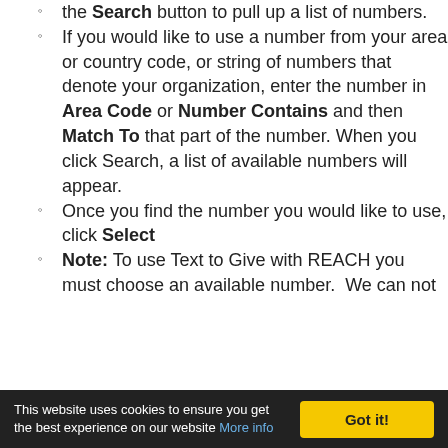the Search button to pull up a list of numbers.
If you would like to use a number from your area or country code, or string of numbers that denote your organization, enter the number in Area Code or Number Contains and then Match To that part of the number. When you click Search, a list of available numbers will appear.
Once you find the number you would like to use, click Select
Note: To use Text to Give with REACH you must choose an available number. We can not
This website uses cookies to ensure you get the best experience on our website More info